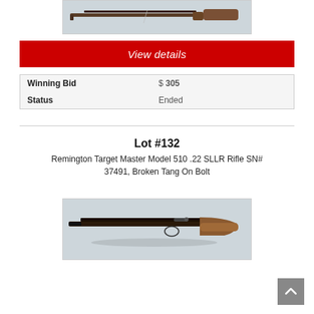[Figure (photo): Photo of a rifle displayed horizontally against a light background]
View details
| Winning Bid | $ 305 |
| Status | Ended |
Lot #132
Remington Target Master Model 510 .22 SLLR Rifle SN# 37491, Broken Tang On Bolt
[Figure (photo): Photo of a Remington Target Master Model 510 rifle displayed horizontally against a light background]